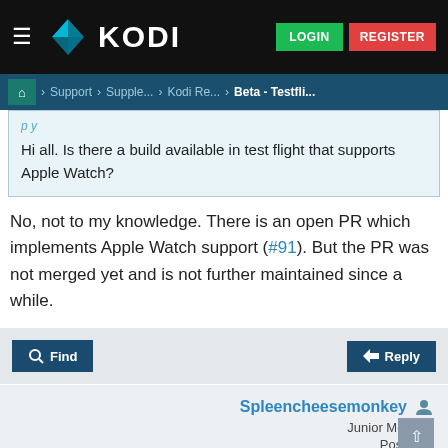KODI LOGIN REGISTER
Home > Support > Supple... > Kodi Re... > Beta - Testfli...
Hi all. Is there a build available in test flight that supports Apple Watch?
No, not to my knowledge. There is an open PR which implements Apple Watch support (#91). But the PR was not merged yet and is not further maintained since a while.
Find   Reply
Spleencheesemonkey
Junior Member
Posts: 10